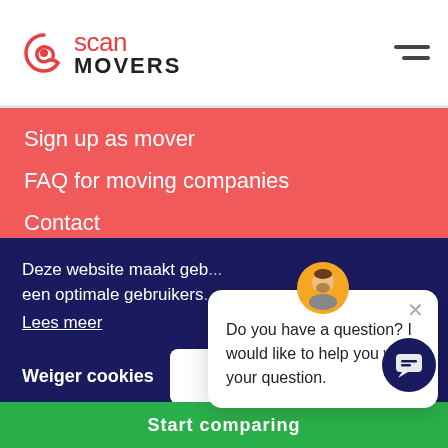[Figure (logo): Scan Movers logo with spiral icon]
Sign up as mover
FAQ for moving companies
Contact
Preparation
10 Moving tips & tricks
Deze website maakt geb... een optimale gebruikers...
Lees meer
Weiger cookies
Akkoord
Do you have a question? I would like to help you with your question.
Start comparing